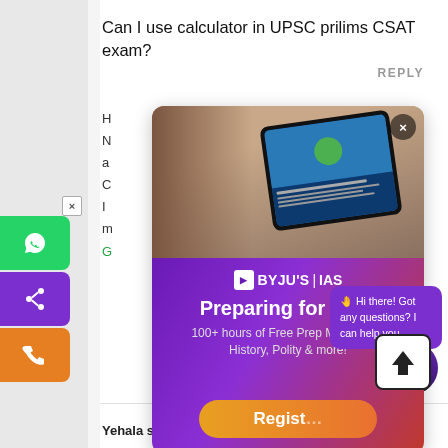Can I use calculator in UPSC prilims CSAT exam?
REPLY
[Figure (screenshot): BYJU'S IAS advertisement popup showing a person holding a tablet with an online class. The popup has a photo section at top and a purple gradient section below with text 'Preparing for IAS? 100+ hours of Free Prep Material on History, Polity & more!' and a Register button.]
[Figure (screenshot): Chat bubble with purple background saying 'Hi there! Got any questions? I can help you...' with a waving hand emoji. An upload/share button is to the right.]
[Figure (screenshot): Profile avatar of a person in circular frame at bottom right.]
Yehala suresh   MAY 6, 2021 AT 5:32 PM